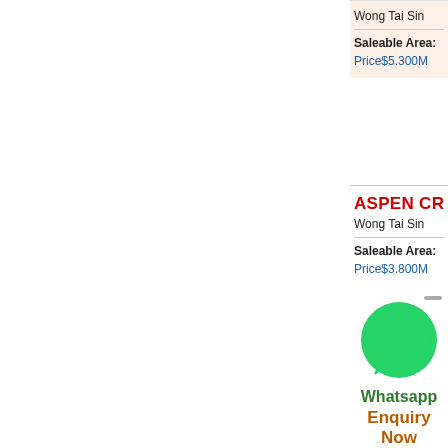Wong Tai Sin
Saleable Area:
Price$5.300M
ASPEN CRE…
Wong Tai Sin
Saleable Area:
Price$3.800M
[Figure (logo): WhatsApp green icon with phone handset]
Whatsapp
Enquiry Now